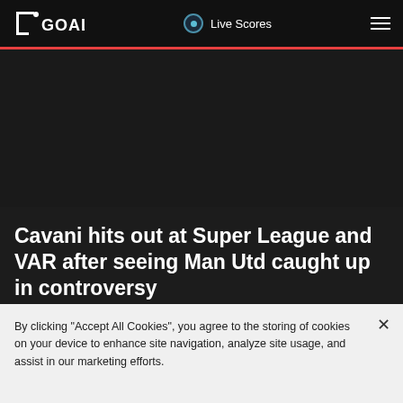GOAL | Live Scores
[Figure (photo): Dark/black image area representing a news article header image]
Cavani hits out at Super League and VAR after seeing Man Utd caught up in controversy
Chris Burton
By clicking “Accept All Cookies”, you agree to the storing of cookies on your device to enhance site navigation, analyze site usage, and assist in our marketing efforts.